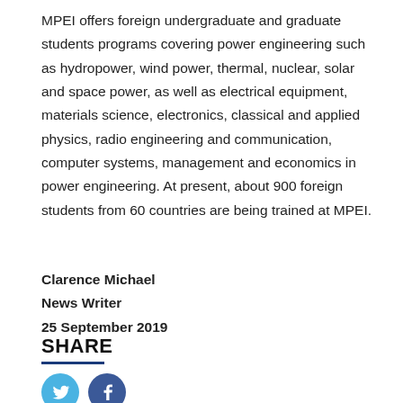MPEI offers foreign undergraduate and graduate students programs covering power engineering such as hydropower, wind power, thermal, nuclear, solar and space power, as well as electrical equipment, materials science, electronics, classical and applied physics, radio engineering and communication, computer systems, management and economics in power engineering. At present, about 900 foreign students from 60 countries are being trained at MPEI.
Clarence Michael
News Writer
25 September 2019
SHARE
[Figure (illustration): Twitter and Facebook social media share icons (circular, colored)]